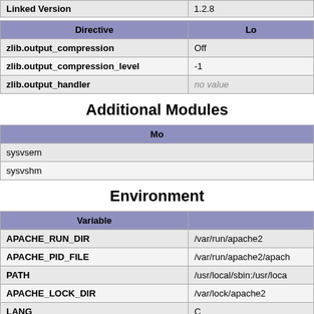| Directive | Lo |
| --- | --- |
| zlib.output_compression | Off |
| zlib.output_compression_level | -1 |
| zlib.output_handler | no value |
Additional Modules
| Me |
| --- |
| sysvsem |
| sysvshm |
Environment
| Variable |  |
| --- | --- |
| APACHE_RUN_DIR | /var/run/apache2 |
| APACHE_PID_FILE | /var/run/apache2/apach |
| PATH | /usr/local/sbin:/usr/loca |
| APACHE_LOCK_DIR | /var/lock/apache2 |
| LANG | C |